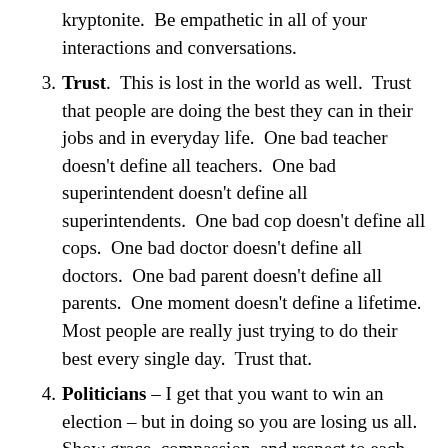kryptonite.  Be empathetic in all of your interactions and conversations.
Trust.  This is lost in the world as well.  Trust that people are doing the best they can in their jobs and in everyday life.  One bad teacher doesn’t define all teachers.  One bad superintendent doesn’t define all superintendents.  One bad cop doesn’t define all cops.  One bad doctor doesn’t define all doctors.  One bad parent doesn’t define all parents.  One moment doesn’t define a lifetime.  Most people are really just trying to do their best every single day.  Trust that.
Politicians – I get that you want to win an election – but in doing so you are losing us all. Show grace, compassion, and respect to each other and maybe, just maybe the nation will follow your lead.